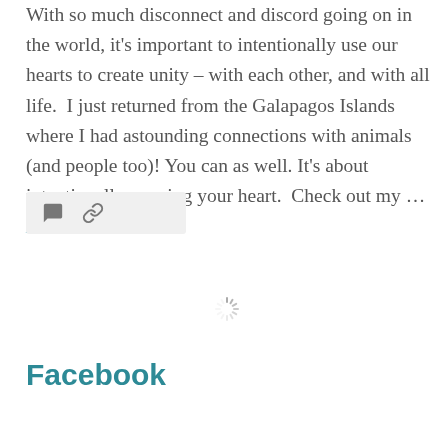With so much disconnect and discord going on in the world, it's important to intentionally use our hearts to create unity – with each other, and with all life.  I just returned from the Galapagos Islands where I had astounding connections with animals (and people too)! You can as well. It's about intentionally opening your heart.  Check out my … More
[Figure (other): Action bar with comment icon and link/share icon on a light grey background]
[Figure (other): Loading spinner icon (circular dotted spinner)]
Facebook